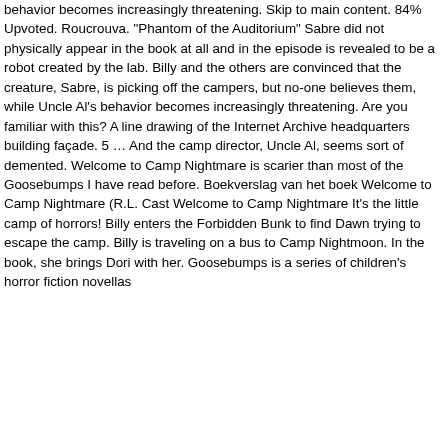behavior becomes increasingly threatening. Skip to main content. 84% Upvoted. Roucrouva. "Phantom of the Auditorium" Sabre did not physically appear in the book at all and in the episode is revealed to be a robot created by the lab. Billy and the others are convinced that the creature, Sabre, is picking off the campers, but no-one believes them, while Uncle Al's behavior becomes increasingly threatening. Are you familiar with this? A line drawing of the Internet Archive headquarters building façade. 5 … And the camp director, Uncle Al, seems sort of demented. Welcome to Camp Nightmare is scarier than most of the Goosebumps I have read before. Boekverslag van het boek Welcome to Camp Nightmare (R.L. Cast Welcome to Camp Nightmare It's the little camp of horrors! Billy enters the Forbidden Bunk to find Dawn trying to escape the camp. Billy is traveling on a bus to Camp Nightmoon. In the book, she brings Dori with her. Goosebumps is a series of children's horror fiction novellas